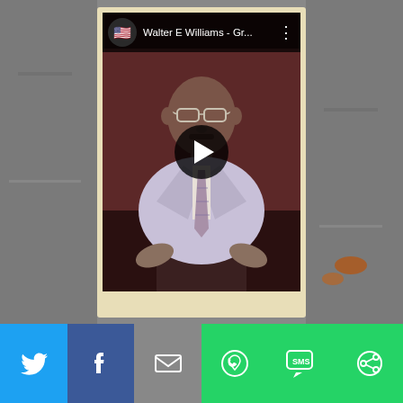[Figure (screenshot): A screenshot of a video player showing Walter E Williams speaking at a podium, wearing glasses, a light-colored suit and patterned tie. The video header shows a US flag emoji channel icon and title 'Walter E Williams - Gr...' with a three-dot menu. A play button overlay is centered on the video. Below the video is a row of social sharing buttons: Twitter, Facebook, Email, WhatsApp, SMS, and a share/more button.]